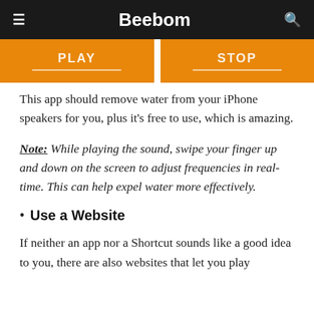Beebom
[Figure (screenshot): Orange PLAY and STOP buttons with white text, partially visible at top of content area]
This app should remove water from your iPhone speakers for you, plus it's free to use, which is amazing.
Note: While playing the sound, swipe your finger up and down on the screen to adjust frequencies in real-time. This can help expel water more effectively.
Use a Website
If neither an app nor a Shortcut sounds like a good idea to you, there are also websites that let you play